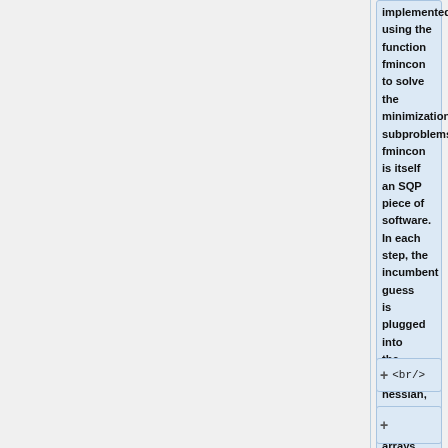implemented, using the function fmincon to solve the minimization subproblems. fmincon is itself an SQP piece of software. In each step, the incumbent guess is plugged into the gradient, hessian, and constraint arrays, which then become parameters for the minimization problem. <br/>
<br/>